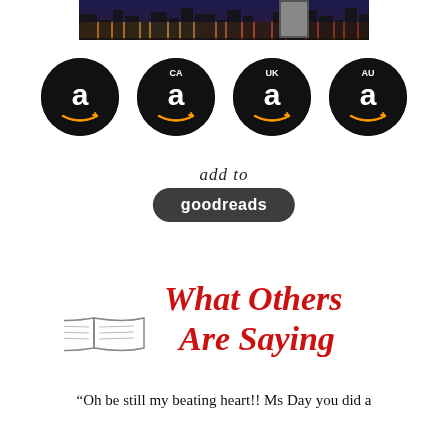[Figure (photo): Top portion of a book cover or promotional image showing a city skyline at night with colorful lights]
[Figure (logo): Four Amazon logo circles in black: main (no label), CA, UK, AU]
[Figure (logo): Add to Goodreads button with italic script 'add to' above a dark rounded rectangle reading 'goodreads']
[Figure (logo): Decorative script text reading 'What Others Are Saying' in red cursive with an open book illustration]
“Oh be still my beating heart!! Ms Day you did a